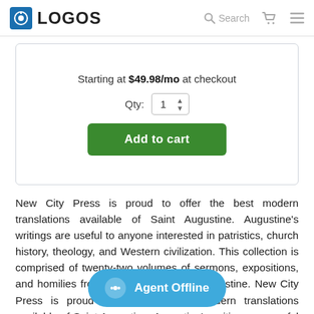LOGOS — Search
Starting at $49.98/mo at checkout
Qty: 1
Add to cart
New City Press is proud to offer the best modern translations available of Saint Augustine. Augustine's writings are useful to anyone interested in patristics, church history, theology, and Western civilization. This collection is comprised of twenty-two volumes of sermons, expositions, and homilies from the Works of Saint Augustine. New City Press is proud to offer the best modern translations available of Saint Augustine. Augustine's writings are useful to anyone interested in patristics, church history, theology, and Western civilization.
Agent Offline